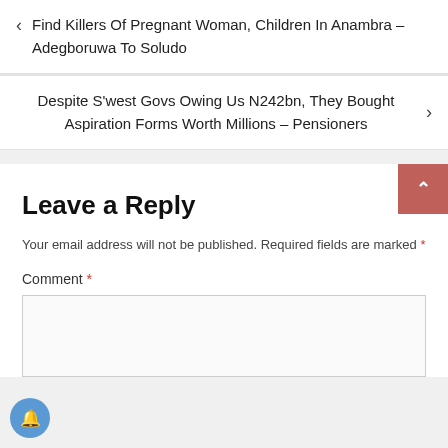Find Killers Of Pregnant Woman, Children In Anambra – Adegboruwa To Soludo
Despite S'west Govs Owing Us N242bn, They Bought Aspiration Forms Worth Millions – Pensioners
Leave a Reply
Your email address will not be published. Required fields are marked *
Comment *